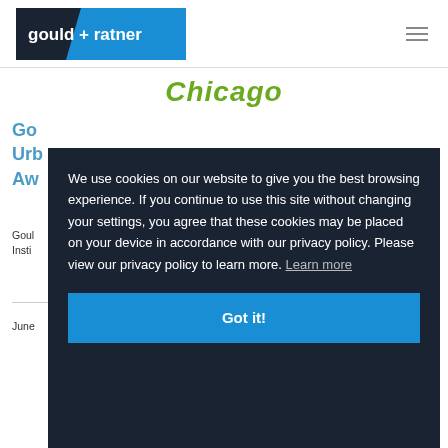gould + ratner [logo]
Chicago
Go... Urb... Aw...
Goul... Insti...
June...
We use cookies on our website to give you the best browsing experience. If you continue to use this site without changing your settings, you agree that these cookies may be placed on your device in accordance with our privacy policy. Please view our privacy policy to learn more. Learn more
Got it!